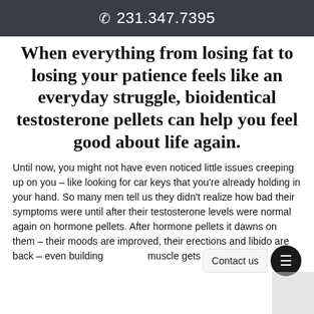📞 231.347.7395
When everything from losing fat to losing your patience feels like an everyday struggle, bioidentical testosterone pellets can help you feel good about life again.
Until now, you might not have even noticed little issues creeping up on you – like looking for car keys that you're already holding in your hand. So many men tell us they didn't realize how bad their symptoms were until after their testosterone levels were normal again on hormone pellets. After hormone pellets it dawns on them – their moods are improved, their erections and libido are back – even building muscle gets easier.